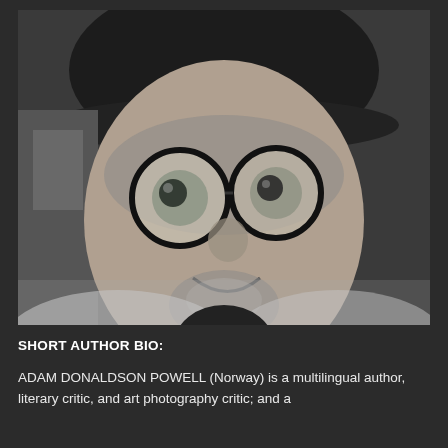[Figure (photo): Black and white close-up portrait photograph of a man wearing large round glasses and a bucket hat, smiling slightly, with a beard, looking directly at the camera.]
SHORT AUTHOR BIO:
ADAM DONALDSON POWELL (Norway) is a multilingual author, literary critic, and art photography critic; and a